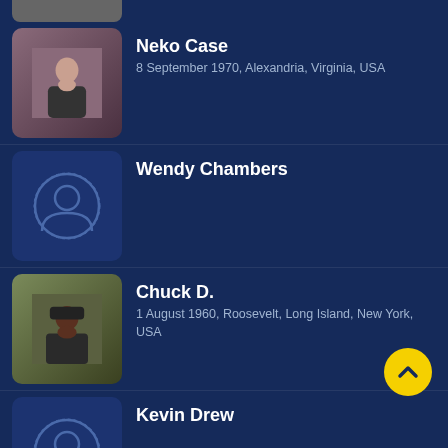Neko Case
8 September 1970, Alexandria, Virginia, USA
Wendy Chambers
Chuck D.
1 August 1960, Roosevelt, Long Island, New York, USA
Kevin Drew
Kenneth 'Babyface' Edmonds
10 April 1958, Indianapolis, Indiana, USA
Jennifer Ferris
17 November 1990, Moncton, New Brunswick, Canada
Inez Genereux